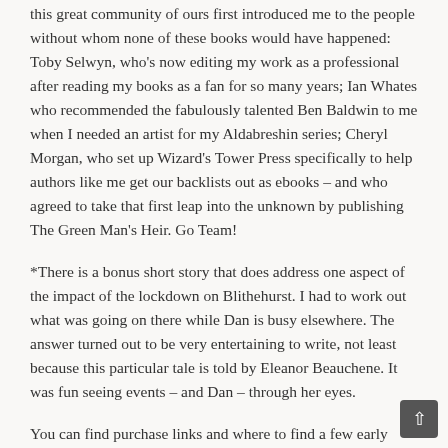this great community of ours first introduced me to the people without whom none of these books would have happened: Toby Selwyn, who's now editing my work as a professional after reading my books as a fan for so many years; Ian Whates who recommended the fabulously talented Ben Baldwin to me when I needed an artist for my Aldabreshin series; Cheryl Morgan, who set up Wizard's Tower Press specifically to help authors like me get our backlists out as ebooks – and who agreed to take that first leap into the unknown by publishing The Green Man's Heir. Go Team!
*There is a bonus short story that does address one aspect of the impact of the lockdown on Blithehurst. I had to work out what was going on there while Dan is busy elsewhere. The answer turned out to be very entertaining to write, not least because this particular tale is told by Eleanor Beauchene. It was fun seeing events – and Dan – through her eyes.
You can find purchase links and where to find a few early reviews here.
Wizard's Tower Press is also now doing online mail order for paperbacks and hardbacks (with bonus ebook included) – and